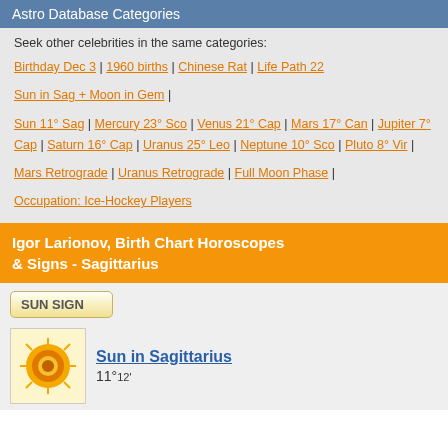Astro Database Categories
Seek other celebrities in the same categories:
Birthday Dec 3 | 1960 births | Chinese Rat | Life Path 22
Sun in Sag + Moon in Gem |
Sun 11° Sag | Mercury 23° Sco | Venus 21° Cap | Mars 17° Can | Jupiter 7° Cap | Saturn 16° Cap | Uranus 25° Leo | Neptune 10° Sco | Pluto 8° Vir |
Mars Retrograde | Uranus Retrograde | Full Moon Phase |
Occupation: Ice-Hockey Players
Igor Larionov, Birth Chart Horoscopes & Signs - Sagittarius
SUN SIGN
Sun in Sagittarius 11°12'